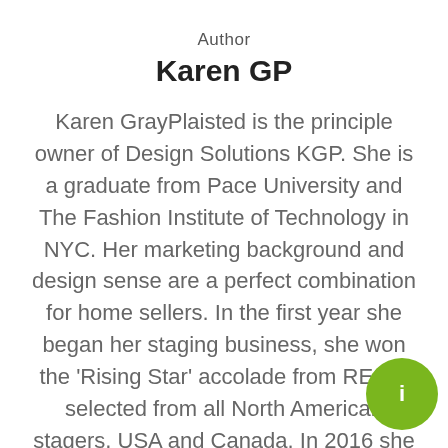Author
Karen GP
Karen GrayPlaisted is the principle owner of Design Solutions KGP. She is a graduate from Pace University and The Fashion Institute of Technology in NYC. Her marketing background and design sense are a perfect combination for home sellers. In the first year she began her staging business, she won the ‘Rising Star’ accolade from RESA, selected from all North American stagers, USA and Canada. In 2016 she